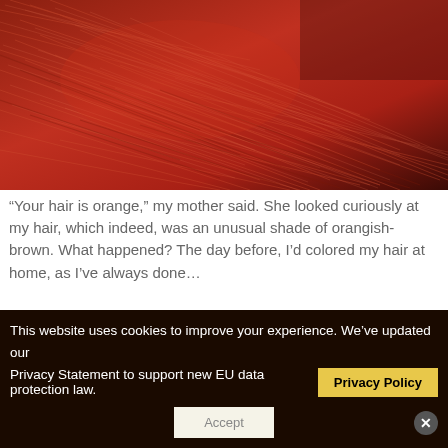[Figure (photo): Close-up photo of red/auburn hair strands with an orangish-brown hue, showing fine hair texture against a dark background.]
“Your hair is orange,” my mother said. She looked curiously at my hair, which indeed, was an unusual shade of orangish-brown. What happened? The day before, I’d colored my hair at home, as I’ve always done…
This website uses cookies to improve your experience. We’ve updated our Privacy Statement to support new EU data protection law.
Privacy Policy
Accept